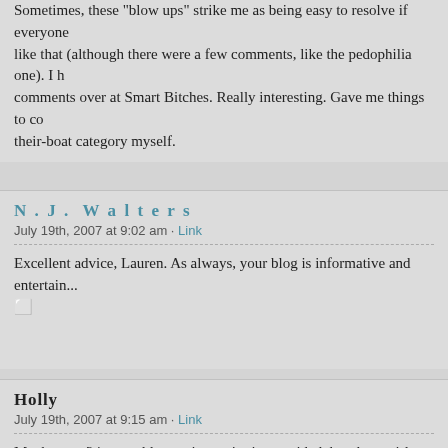Sometimes, these "blow ups" strike me as being easy to resolve if everyone like that (although there were a few comments, like the pedophilia one). I h comments over at Smart Bitches. Really interesting. Gave me things to co their-boat category myself.
N.J. Walters
July 19th, 2007 at 9:02 am · Link
Excellent advice, Lauren. As always, your blog is informative and entertain ⬜
Holly
July 19th, 2007 at 9:15 am · Link
Maybe as a 24 year old, my view point is one sided, but those girls look jus I have no idea how dressing like that actually offended people. If they were would have been covered from head to toe! As far as the sw es, w so. It's her choice, and that's that. You don't like it, she does, get over it!!!! I've never been to a conference of any kind, and this makes me glad. Bein